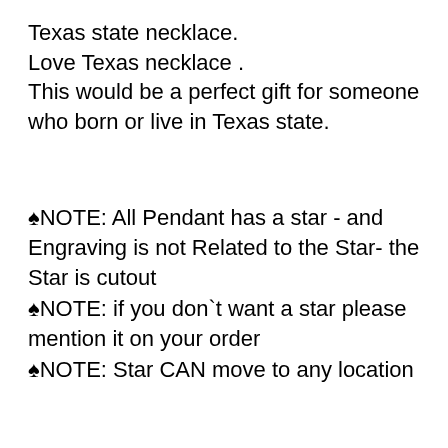Texas state necklace.
Love Texas necklace .
This would be a perfect gift for someone who born or live in Texas state.
♠NOTE: All Pendant has a star - and Engraving is not Related to the Star- the Star is cutout
♠NOTE: if you don`t want a star please mention it on your order
♠NOTE: Star CAN move to any location
Item Description and FAQs :
♠Material: Sterling Silver (925)
♠ Thickens of Pendant : 22 Gauge (0.65 mm)
♠Finish: Bright satin finish